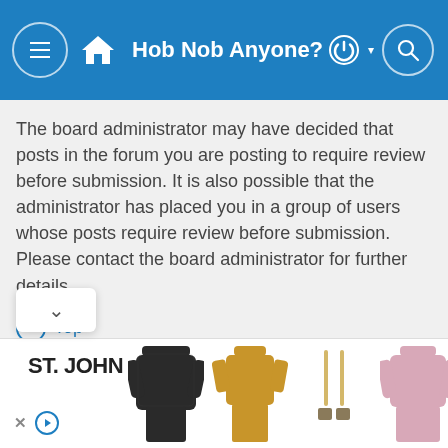Hob Nob Anyone?
The board administrator may have decided that posts in the forum you are posting to require review before submission. It is also possible that the administrator has placed you in a group of users whose posts require review before submission. Please contact the board administrator for further details.
Top
How do I bump my topic?
By clicking the “Bump topic” link when you are viewing it, you can “bump” the topic to the top of the forum on the first [page]. However, if you do not see this, then topic bumping
[Figure (photo): Advertisement banner for ST. JOHN showing clothing items including a black turtleneck sweater, a gold/yellow turtleneck dress, gold earrings, and a pink turtleneck sweater]